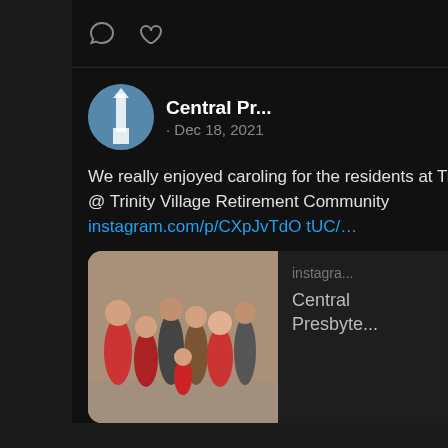[Figure (screenshot): Twitter/social media screenshot showing a tweet from Central Pr... account dated Dec 18, 2021, with comment and like icons at top, followed by tweet content about caroling at Trinity Village Retirement Community with an Instagram link, a preview card showing Instagram post with group photo, action icons at bottom, and a blue 'View more on Twitter' button at the bottom.]
We really enjoyed caroling for the residents at Trinity Village! @ Trinity Village Retirement Community instagram.com/p/CXpJvTdOtUC/…
Central Pr... · Dec 18, 2021
instagra... Central Presbyte...
View more on Twitter